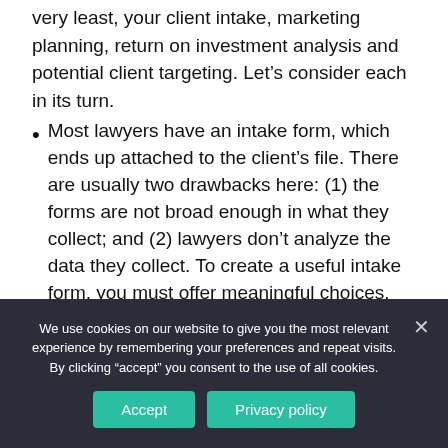very least, your client intake, marketing planning, return on investment analysis and potential client targeting. Let's consider each in its turn.
Most lawyers have an intake form, which ends up attached to the client's file. There are usually two drawbacks here: (1) the forms are not broad enough in what they collect; and (2) lawyers don't analyze the data they collect. To create a useful intake form, you must offer meaningful choices. How did these potential clients find you? Provide checkboxes for all of your marketing outlets — and encourage
We use cookies on our website to give you the most relevant experience by remembering your preferences and repeat visits. By clicking "accept" you consent to the use of all cookies.